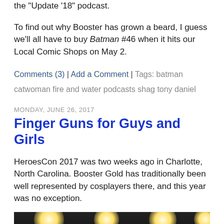the "Update '18" podcast.
To find out why Booster has grown a beard, I guess we'll all have to buy Batman #46 when it hits our Local Comic Shops on May 2.
Comments (3) | Add a Comment | Tags: batman catwoman fire and water podcasts shag tony daniel
MONDAY, JUNE 26, 2017
Finger Guns for Guys and Girls
HeroesCon 2017 was two weeks ago in Charlotte, North Carolina. Booster Gold has traditionally been well represented by cosplayers there, and this year was no exception.
[Figure (photo): Bottom strip of a dark convention hall photo with bright spotlights and partial 'CS' text visible at lower left]